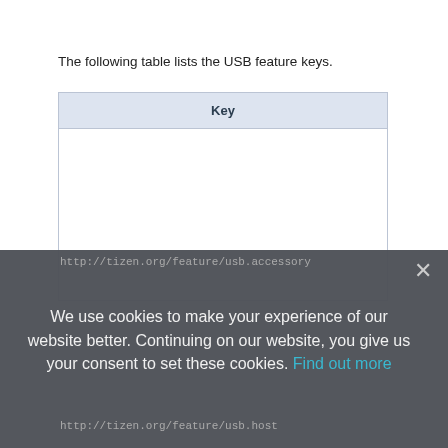The following table lists the USB feature keys.
| Key |
| --- |
| http://tizen.org/feature/usb.accessory |
| http://tizen.org/feature/usb.host |
× We use cookies to make your experience of our website better. Continuing on our website, you give us your consent to set these cookies. Find out more